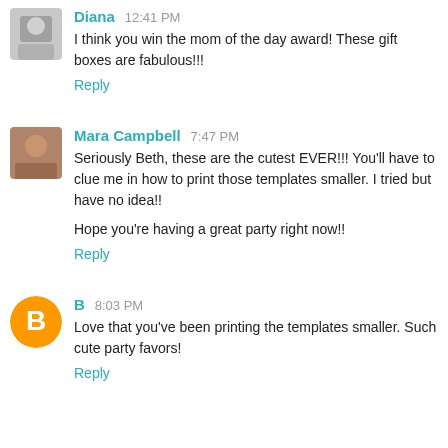I think you win the mom of the day award! These gift boxes are fabulous!!!
Reply
Mara Campbell 7:47 PM
Seriously Beth, these are the cutest EVER!!! You'll have to clue me in how to print those templates smaller. I tried but have no idea!!
Hope you're having a great party right now!!
Reply
B 8:03 PM
Love that you've been printing the templates smaller. Such cute party favors!
Reply